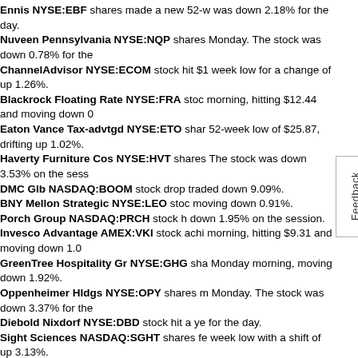Ennis NYSE:EBF shares made a new 52-week low during trading on Monday, it was down 2.18% for the day. Nuveen Pennsylvania NYSE:NQP shares reached a new 52-week low on Monday. The stock was down 0.78% for the day. ChannelAdvisor NYSE:ECOM stock hit $1... week low for a change of up 1.26%. Blackrock Floating Rate NYSE:FRA stock... morning, hitting $12.44 and moving down 0... Eaton Vance Tax-advtgd NYSE:ETO shares... 52-week low of $25.87, drifting up 1.02%. Haverty Furniture Cos NYSE:HVT shares... The stock was down 3.53% on the session. DMC Glb NASDAQ:BOOM stock drop... traded down 9.09%. BNY Mellon Strategic NYSE:LEO stock... moving down 0.91%. Porch Group NASDAQ:PRCH stock h... down 1.95% on the session. Invesco Advantage AMEX:VKI stock achi... morning, hitting $9.31 and moving down 1.0... GreenTree Hospitality Gr NYSE:GHG shares... Monday morning, moving down 1.92%. Oppenheimer Hldgs NYSE:OPY shares m... Monday. The stock was down 3.37% for the... Diebold Nixdorf NYSE:DBD stock hit a ye... for the day. Sight Sciences NASDAQ:SGHT shares fe... week low with a shift of up 3.13%. 4D Molecular Therapeutics NASDAQ:FD... morning to hit a new 52-week low of $11.91...